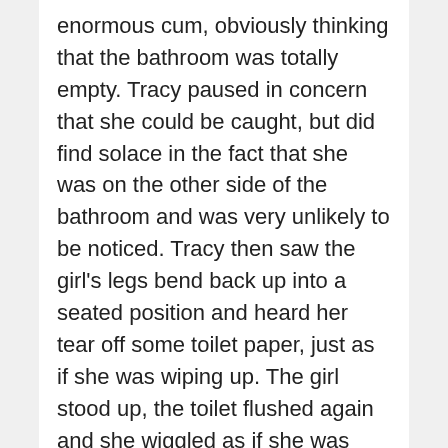enormous cum, obviously thinking that the bathroom was totally empty. Tracy paused in concern that she could be caught, but did find solace in the fact that she was on the other side of the bathroom and was very unlikely to be noticed. Tracy then saw the girl's legs bend back up into a seated position and heard her tear off some toilet paper, just as if she was wiping up. The girl stood up, the toilet flushed again and she wiggled as if she was pulling up her pants. Then Tracy heard the bolt on the door open and a panic and excitement swept over her while she waited to see who it was. When she did, she was floored.Out came a blonde haired beautiful junior named Chastity. She didn't know her last name but she knew that her actions with guys didn't at